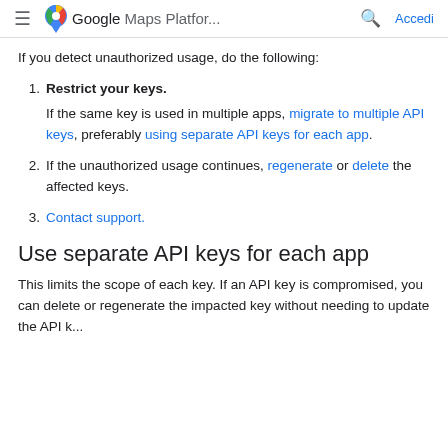≡ Google Maps Platfor... 🔍 Accedi
If you detect unauthorized usage, do the following:
1. Restrict your keys. If the same key is used in multiple apps, migrate to multiple API keys, preferably using separate API keys for each app.
2. If the unauthorized usage continues, regenerate or delete the affected keys.
3. Contact support.
Use separate API keys for each app
This limits the scope of each key. If an API key is compromised, you can delete or regenerate the impacted key without needing to update the API k...